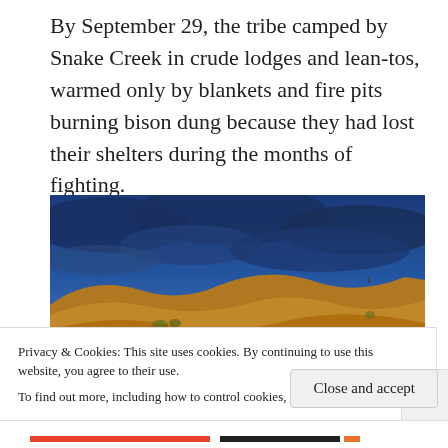By September 29, the tribe camped by Snake Creek in crude lodges and lean-tos, warmed only by blankets and fire pits burning bison dung because they had lost their shelters during the months of fighting.
[Figure (illustration): A panoramic painting depicting a Native American encampment on a wide prairie with rolling golden hills under a dramatic dark blue stormy sky. Tipis and figures are scattered across the foreground landscape.]
Privacy & Cookies: This site uses cookies. By continuing to use this website, you agree to their use.
To find out more, including how to control cookies, see here: Cookie Policy